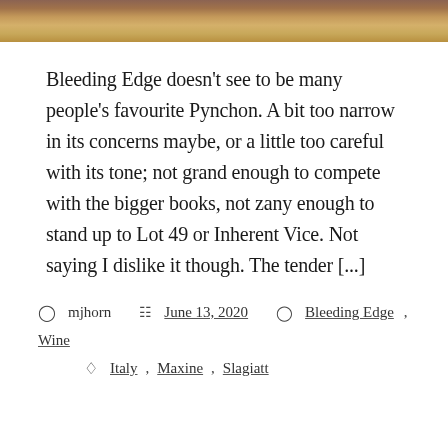[Figure (photo): Partial photograph showing a wooden surface with warm brown tones, cropped at top of page]
Bleeding Edge doesn't see to be many people's favourite Pynchon. A bit too narrow in its concerns maybe, or a little too careful with its tone; not grand enough to compete with the bigger books, not zany enough to stand up to Lot 49 or Inherent Vice. Not saying I dislike it though. The tender [...]
mjhorn   June 13, 2020   Bleeding Edge, Wine
Italy, Maxine, Slagiatt